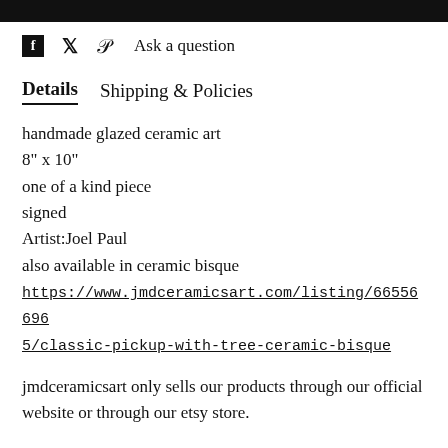[black bar at top]
f  [twitter icon]  [pinterest icon]  Ask a question
Details   Shipping & Policies
handmade glazed ceramic art
8" x 10"
one of a kind piece
signed
Artist:Joel Paul
also available in ceramic bisque
https://www.jmdceramicsart.com/listing/665566965/classic-pickup-with-tree-ceramic-bisque
jmdceramicsart only sells our products through our official website or through our etsy store.